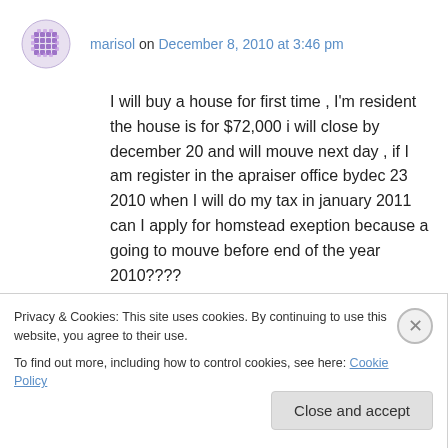marisol on December 8, 2010 at 3:46 pm
I will buy a house for first time , I'm resident the house is for $72,000 i will close by december 20 and will mouve next day , if I am register in the apraiser office bydec 23 2010 when I will do my tax in january 2011 can I apply for homstead exeption because a going to mouve before end of the year 2010????
↳ Reply
Privacy & Cookies: This site uses cookies. By continuing to use this website, you agree to their use.
To find out more, including how to control cookies, see here: Cookie Policy